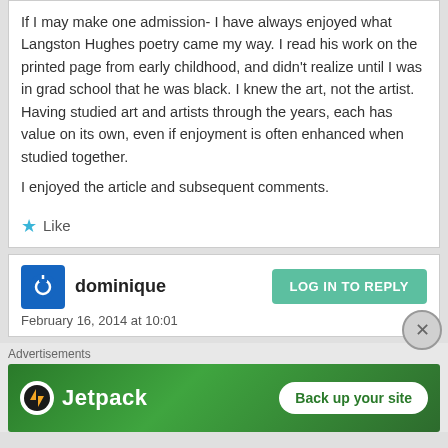If I may make one admission- I have always enjoyed what Langston Hughes poetry came my way. I read his work on the printed page from early childhood, and didn't realize until I was in grad school that he was black. I knew the art, not the artist. Having studied art and artists through the years, each has value on its own, even if enjoyment is often enhanced when studied together.
I enjoyed the article and subsequent comments.
★ Like
dominique
February 16, 2014 at 10:01
Advertisements
[Figure (logo): Jetpack advertisement banner with green background, Jetpack logo on left and 'Back up your site' button on right]